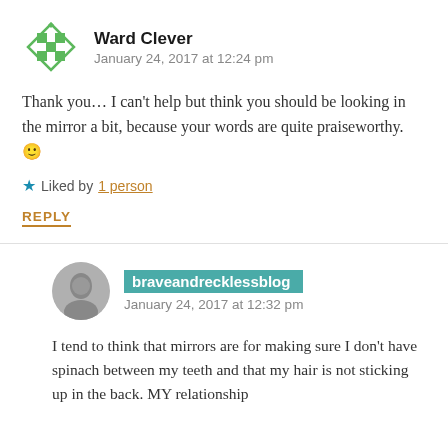Ward Clever
January 24, 2017 at 12:24 pm
Thank you… I can't help but think you should be looking in the mirror a bit, because your words are quite praiseworthy. 🙂
★ Liked by 1 person
REPLY
braveandrecklessblog
January 24, 2017 at 12:32 pm
I tend to think that mirrors are for making sure I don't have spinach between my teeth and that my hair is not sticking up in the back. MY relationship